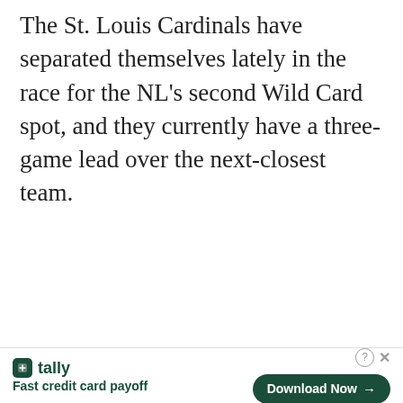The St. Louis Cardinals have separated themselves lately in the race for the NL's second Wild Card spot, and they currently have a three-game lead over the next-closest team.
The Cardinals who were out of the playoffs just a few weeks ago now hold a 3 game lead on the last wild card spot. It'll be no easy feat with 7 games left against the Brewers but this has potential to be one of the
[Figure (other): Advertisement banner for Tally app — logo, tagline 'Fast credit card payoff', and a 'Download Now' button with arrow]